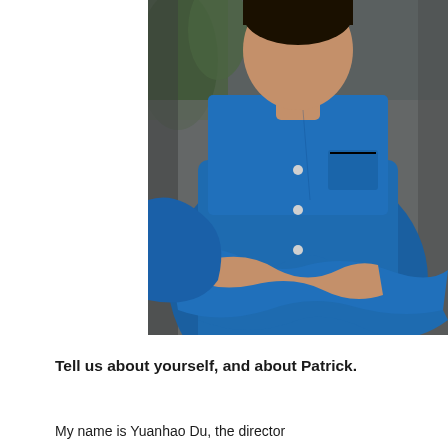[Figure (photo): A man in a blue button-up shirt with arms crossed, photographed from chest up with a blurred green background. The photo is cropped to show the torso and partial head area.]
Tell us about yourself, and about Patrick.
My name is Yuanhao Du, the director